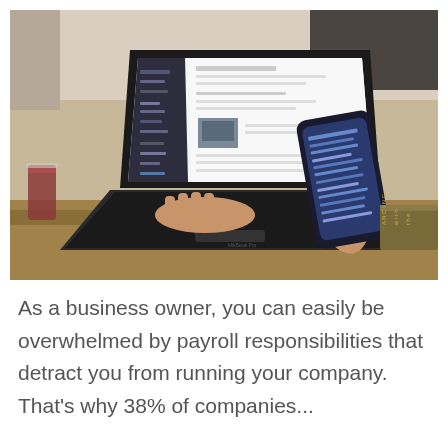[Figure (photo): Person sitting at a desk using a MacBook laptop while holding a smartphone. The laptop screen shows a social media or messaging interface. There is a drink in a glass on the left side of the desk and a book/cushion on the right.]
As a business owner, you can easily be overwhelmed by payroll responsibilities that detract you from running your company. That's why 38% of companies...